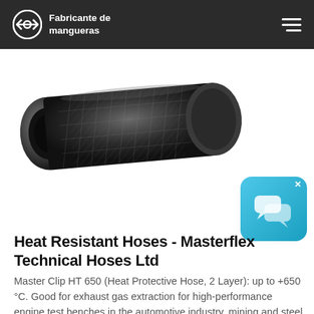Fabricante de mangueras
[Figure (photo): Black heat-resistant industrial hose shown diagonally, textured surface visible]
Heat Resistant Hoses - Masterflex Technical Hoses Ltd
Master Clip HT 650 (Heat Protective Hose, 2 Layer): up to +650 °C. Good for exhaust gas extraction for high-performance engine test benches in the automotive industry, mining and steel industry, infrared drying units and more. Maximum Temperature: 650 °C. Diameter Range: 50 ...